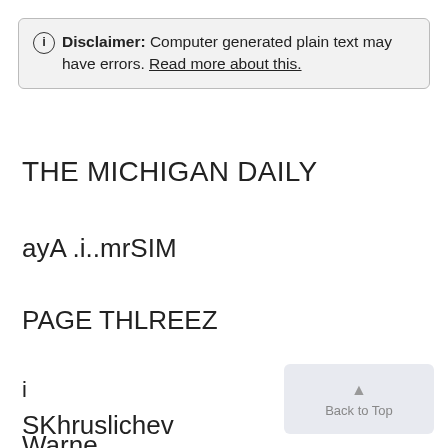ⓘ Disclaimer: Computer generated plain text may have errors. Read more about this.
THE MICHIGAN DAILY
ayA .i..mrSIM
PAGE THLREEZ
i
SKhruslichev
Warne